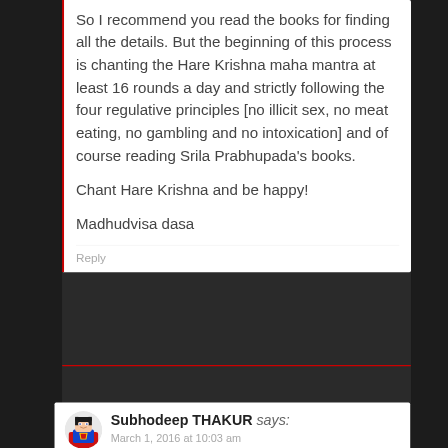So I recommend you read the books for finding all the details. But the beginning of this process is chanting the Hare Krishna maha mantra at least 16 rounds a day and strictly following the four regulative principles [no illicit sex, no meat eating, no gambling and no intoxication] and of course reading Srila Prabhupada's books.

Chant Hare Krishna and be happy!

Madhudvisa dasa
Reply
Subhodeep THAKUR says: March 1, 2016 at 10:03 am